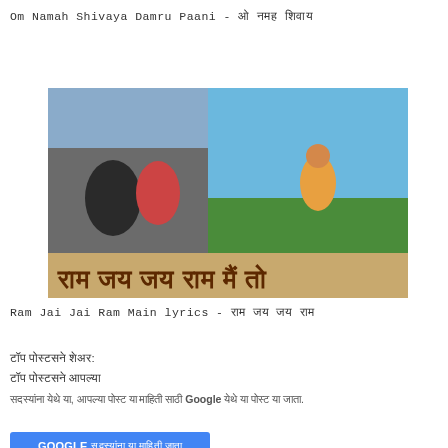Om Namah Shivaya Damru Paani - ओ नमह शिवाय
[Figure (screenshot): Banner image for Ram Jai Jai Ram Main song with Hindi text राम जय जय राम मैं तो and scenes from a devotional film]
Ram Jai Jai Ram Main lyrics - राम जय जय राम
टॉप पोस्टसने शेअर:
टॉप पोस्टसने आपल्या
सदस्यांना येथे या, आपल्या पोस्ट या माहिती साठी Google येथे या पोस्ट या जाता. .
GOOGLE सदस्यांना या माहिती जाता